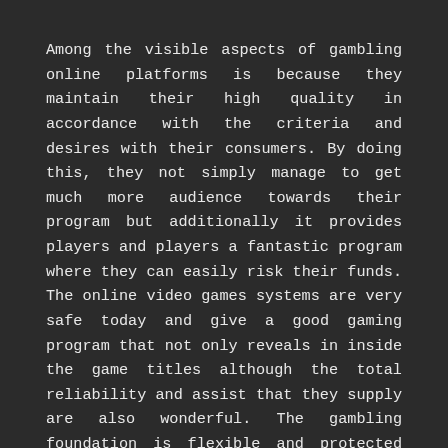Among the visible aspects of gambling online platforms is because they maintain their high quality in accordance with the criteria and desires with their consumers. By doing this, they not simply manage to get much more audience towards their program but additionally it provides players and players a fantastic program where they can easily risk their funds. The online video games systems are very safe today and give a good gaming program that not only reveals in inside the game titles although the total reliability and assist that they supply are also wonderful. The gambling foundation is flexible and protected for that community and it is continuously becoming more standing amongst players.
In case you have any difficulty with the process or perhaps you are taking part in a game and you may not know that ways to location your money upon it, you can actually talk to their consumer services, and they offers you all of the